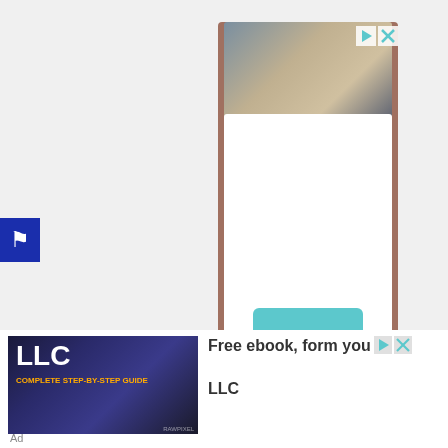[Figure (other): Blue accessibility icon button on left side of page]
[Figure (other): Lendio tall advertisement with photo of business handshake at top and teal Lendio logo at bottom]
[Figure (other): LLC ebook advertisement banner at bottom with dark background showing LLC text and business image]
Free ebook, form your LLC
Ad